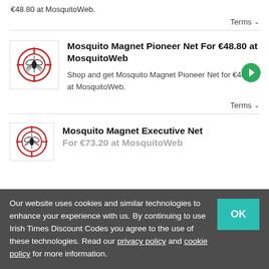€48.80 at MosquitoWeb.
Terms ∨
Mosquito Magnet Pioneer Net For €48.80 at MosquitoWeb
Shop and get Mosquito Magnet Pioneer Net for €48.80 at MosquitoWeb.
Terms ∨
Mosquito Magnet Executive Net For €73.20 at MosquitoWeb
Our website uses cookies and similar technologies to enhance your experience with us. By continuing to use Irish Times Discount Codes you agree to the use of these technologies. Read our privacy policy and cookie policy for more information.